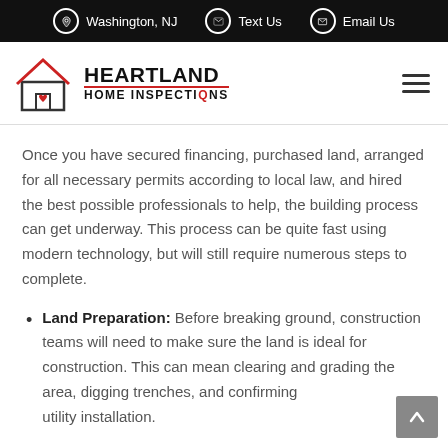Washington, NJ | Text Us | Email Us
[Figure (logo): Heartland Home Inspections logo with house icon]
Once you have secured financing, purchased land, arranged for all necessary permits according to local law, and hired the best possible professionals to help, the building process can get underway. This process can be quite fast using modern technology, but will still require numerous steps to complete.
Land Preparation: Before breaking ground, construction teams will need to make sure the land is ideal for construction. This can mean clearing and grading the area, digging trenches, and confirming utility installation.